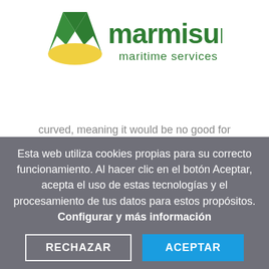[Figure (logo): Marmisur Maritime Services logo — green M/bird/wave icon with yellow accent, green text 'marmisur' and 'maritime services' below]
curved, meaning it would be no good for
Esta web utiliza cookies propias para su correcto funcionamiento. Al hacer clic en el botón Aceptar, acepta el uso de estas tecnologías y el procesamiento de tus datos para estos propósitos. Configurar y más información
RECHAZAR
ACEPTAR